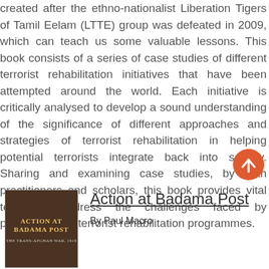created after the ethno-nationalist Liberation Tigers of Tamil Eelam (LTTE) group was defeated in 2009, which can teach us some valuable lessons. This book consists of a series of case studies of different terrorist rehabilitation initiatives that have been attempted around the world. Each initiative is critically analysed to develop a sound understanding of the significance of different approaches and strategies of terrorist rehabilitation in helping potential terrorists integrate back into society. Sharing and examining case studies, by both practitioners and scholars, this book provides vital tools to address the challenges faced by practitioners of terrorist rehabilitation programmes.
[Figure (other): Orange circular scroll-to-top button with upward arrow icon]
[Figure (photo): Book cover for 'Action at Badama Post' showing dark brown cover with yellow title text]
Action at Badama Post
By Paul Macro